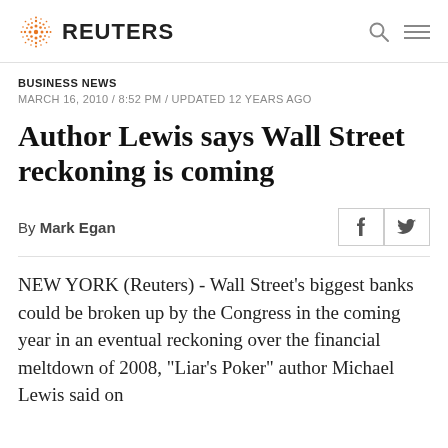REUTERS
BUSINESS NEWS
MARCH 16, 2010 / 8:52 PM / UPDATED 12 YEARS AGO
Author Lewis says Wall Street reckoning is coming
By Mark Egan
NEW YORK (Reuters) - Wall Street's biggest banks could be broken up by the Congress in the coming year in an eventual reckoning over the financial meltdown of 2008, "Liar's Poker" author Michael Lewis said on